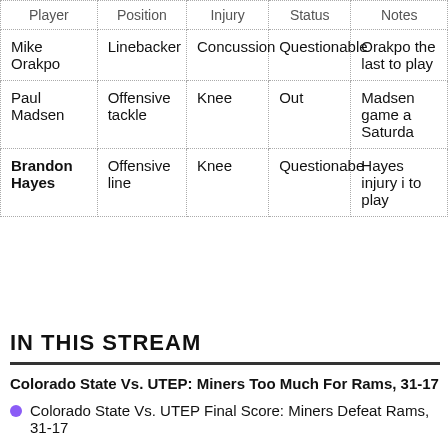| Player | Position | Injury | Status | Notes |
| --- | --- | --- | --- | --- |
| Mike Orakpo | Linebacker | Concussion | Questionable | Orakpo the last to play |
| Paul Madsen | Offensive tackle | Knee | Out | Madsen game a Saturda |
| Brandon Hayes | Offensive line | Knee | Questionable | Hayes injury i to play |
IN THIS STREAM
Colorado State Vs. UTEP: Miners Too Much For Rams, 31-17
Colorado State Vs. UTEP Final Score: Miners Defeat Rams, 31-17